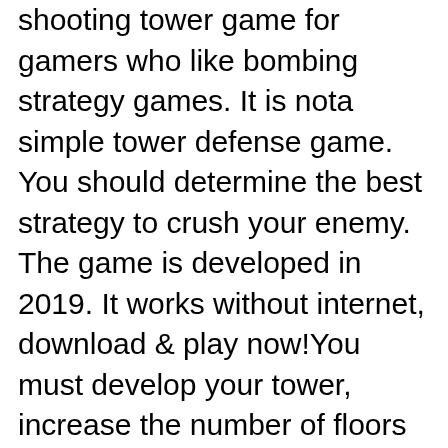shooting tower game for gamers who like bombing strategy games. It is nota simple tower defense game. You should determine the best strategy to crush your enemy. The game is developed in 2019. It works without internet, download & play now!You must develop your tower, increase the number of floors to six and strengthen her arms. You can win only by hitting your enemies with a combination of intelligence and speed.Exterminate all of your enemies with a crushing weapons.Exciting battles wait for you! It won't be easy to win!FEATURES:✓ Play for free & offline✓ Build a tower up to 6 floors✓ Develop your town — 11 types of floors with different materials✓ 14 types of mortal weapons✓ More than 230 levels✓ 4 bonuses will help to win — shield, elixir of life, freeze & fireball✓ A great number of